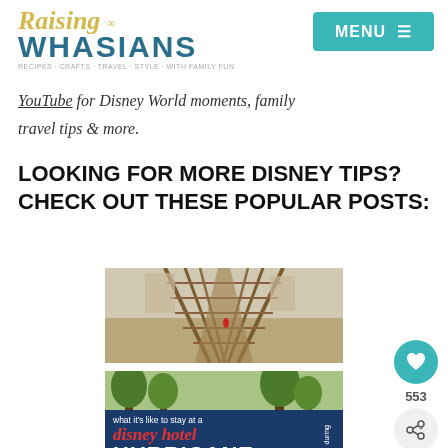Raising Whasians
YouTube for Disney World moments, family travel tips & more.
LOOKING FOR MORE DISNEY TIPS? CHECK OUT THESE POPULAR POSTS:
[Figure (photo): A wooden boardwalk/bridge path with a person walking, and below it an outdoor scene with children walking among trees with an overlay reading 'what it's like to stay at a disney hotel during HURRICANE']